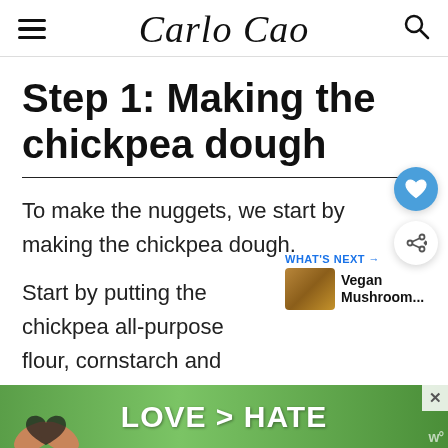Carlo Cao
Step 1: Making the chickpea dough
To make the nuggets, we start by making the chickpea dough.
Start by putting the chickpea all-purpose flour, cornstarch and
[Figure (infographic): Advertisement banner at the bottom showing hands forming a heart shape with text LOVE > HATE on a green background]
[Figure (infographic): What's Next widget showing a food image with text 'Vegan Mushroom...']